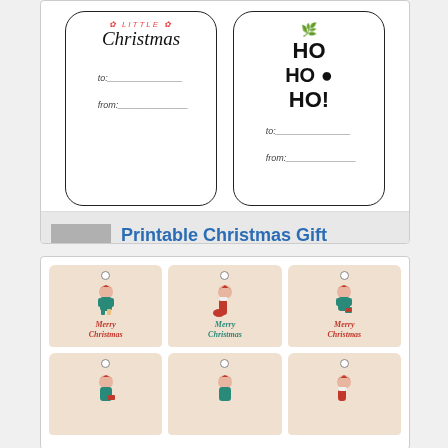[Figure (illustration): Two printable Christmas gift name tags. Left tag shows 'little Christmas' in script with 'to:' and 'from:' lines. Right tag shows 'HO HO HO!' text with holly decorations and 'to:' and 'from:' lines.]
10  Printable Christmas Gift Name Tags
[Figure (illustration): Six printable Christmas gift tags featuring elf and Santa characters on a beige background. Top row: elf girl with hat, stocking with Santa hat, elf with gift - all say 'Merry Christmas'. Bottom row: three more similar tags partially visible.]